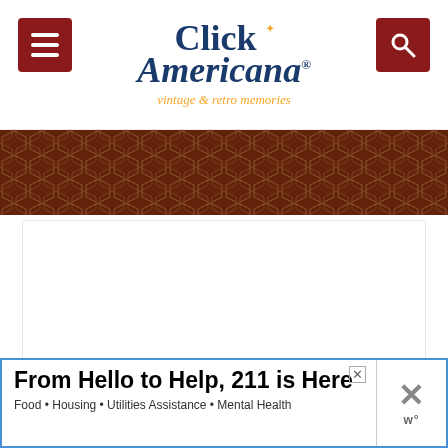Click Americana — vintage & retro memories
[Figure (photo): Cropped banner photo showing a honeycomb or mosaic pattern in reddish-brown tones]
[Figure (screenshot): White content/article area with loading dots indicator and floating action buttons (heart, share), plus a What's Next panel showing 'Retro 60s Japanese-...']
From Hello to Help, 211 is Here
Food • Housing • Utilities Assistance • Mental Health